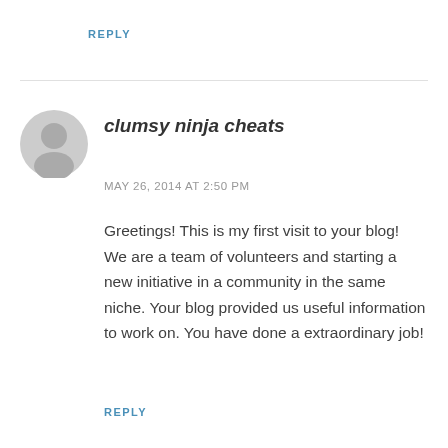REPLY
[Figure (illustration): Gray circular avatar placeholder icon showing a generic person silhouette]
clumsy ninja cheats
MAY 26, 2014 AT 2:50 PM
Greetings! This is my first visit to your blog! We are a team of volunteers and starting a new initiative in a community in the same niche. Your blog provided us useful information to work on. You have done a extraordinary job!
REPLY